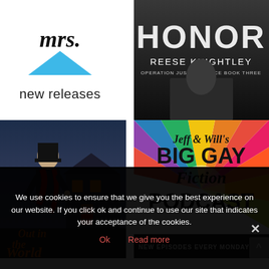[Figure (logo): Mrs.  new releases logo with cursive text and blue triangle]
[Figure (illustration): Book cover: HONOR by Reese Knightley, Operation Justice Force Book Three, dark thriller cover]
[Figure (illustration): Book cover: Out in the World, historical fiction with man in top hat and red scarf]
[Figure (illustration): Jeff & Will's Big Gay Fiction Podcast logo, rainbow sunburst, New Episodes Every Monday]
We use cookies to ensure that we give you the best experience on our website. If you click ok and continue to use our site that indicates your acceptance of the cookies.
Ok   Read more